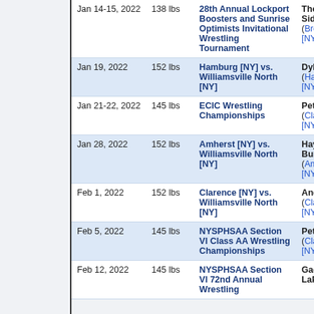| Date | Weight | Event | Winner |
| --- | --- | --- | --- |
| Jan 14-15, 2022 | 138 lbs | 28th Annual Lockport Boosters and Sunrise Optimists Invitational Wrestling Tournament | Thomas Sidore (Brockport [NY]) |
| Jan 19, 2022 | 152 lbs | Hamburg [NY] vs. Williamsville North [NY] | Dylan Collins (Hamburg [NY]) |
| Jan 21-22, 2022 | 145 lbs | ECIC Wrestling Championships | Peter Panaro (Clarence [NY]) |
| Jan 28, 2022 | 152 lbs | Amherst [NY] vs. Williamsville North [NY] | Hayden Burrows (Amherst [NY]) |
| Feb 1, 2022 | 152 lbs | Clarence [NY] vs. Williamsville North [NY] | Andrew Le (Clarence [NY]) |
| Feb 5, 2022 | 145 lbs | NYSPHSAA Section VI Class AA Wrestling Championships | Peter Panaro (Clarence [NY]) |
| Feb 12, 2022 | 145 lbs | NYSPHSAA Section VI 72nd Annual Wrestling | Gage LaPlante |